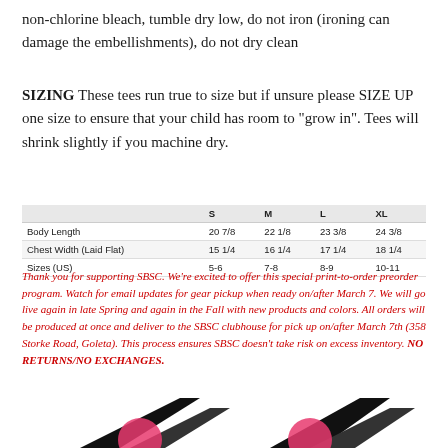non-chlorine bleach, tumble dry low, do not iron (ironing can damage the embellishments), do not dry clean
SIZING These tees run true to size but if unsure please SIZE UP one size to ensure that your child has room to "grow in". Tees will shrink slightly if you machine dry.
|  | S | M | L | XL |
| --- | --- | --- | --- | --- |
| Body Length | 20 7/8 | 22 1/8 | 23 3/8 | 24 3/8 |
| Chest Width (Laid Flat) | 15 1/4 | 16 1/4 | 17 1/4 | 18 1/4 |
| Sizes (US) | 5-6 | 7-8 | 8-9 | 10-11 |
Thank you for supporting SBSC. We're excited to offer this special print-to-order preorder program. Watch for email updates for gear pickup when ready on/after March 7. We will go live again in late Spring and again in the Fall with new products and colors. All orders will be produced at once and deliver to the SBSC clubhouse for pick up on/after March 7th (358 Storke Road, Goleta). This process ensures SBSC doesn't take risk on excess inventory. NO RETURNS/NO EXCHANGES.
[Figure (photo): Partial view of printed t-shirts at the bottom of the page]